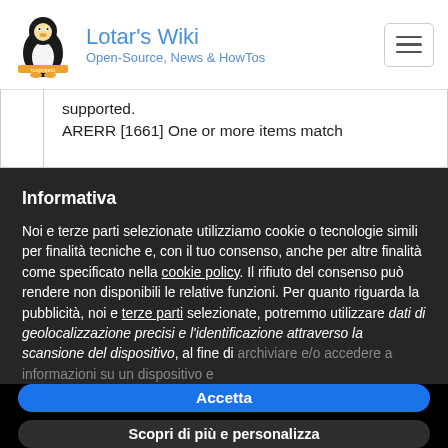Lotar's Wiki — Open-Source, News & HowTos
| supported. | ARERR [1661] One or more items match |
Informativa
Noi e terze parti selezionate utilizziamo cookie o tecnologie simili per finalità tecniche e, con il tuo consenso, anche per altre finalità come specificato nella cookie policy. Il rifiuto del consenso può rendere non disponibili le relative funzioni. Per quanto riguarda la pubblicità, noi e terze parti selezionate, potremmo utilizzare dati di geolocalizzazione precisi e l'identificazione attraverso la scansione del dispositivo, al fine di archiviare e/o accedere a informazioni su un dispositivo e
Accetta
Scopri di più e personalizza